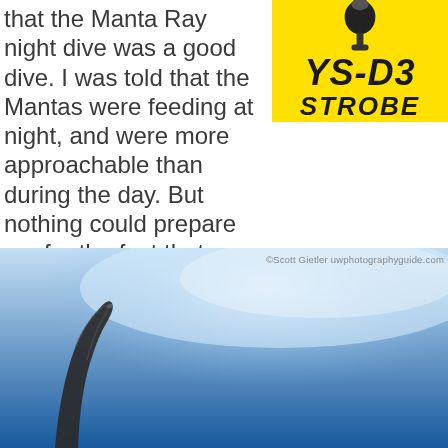that the Manta Ray night dive was a good dive. I was told that the Mantas were feeding at night, and were more approachable than during the day. But nothing could prepare me for the fact that we would indirectly be feeding the mantas, and how incredible that could be.
[Figure (advertisement): YS-D3 STROBE advertisement on yellow background with strobe device icon]
[Figure (photo): Underwater photo of a manta ray fin/wing tip visible against blue water with sunlit surface above. Copyright Scott Gietler uwphotographyguide.com]